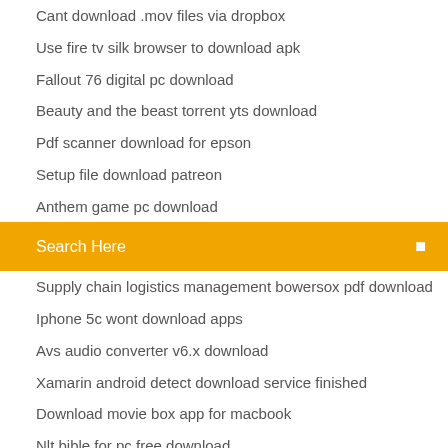Cant download .mov files via dropbox
Use fire tv silk browser to download apk
Fallout 76 digital pc download
Beauty and the beast torrent yts download
Pdf scanner download for epson
Setup file download patreon
Anthem game pc download
[Figure (screenshot): Orange search bar with text 'Search Here' and a search icon on the right]
Supply chain logistics management bowersox pdf download
Iphone 5c wont download apps
Avs audio converter v6.x download
Xamarin android detect download service finished
Download movie box app for macbook
Nlt bible for pc free download
Download with netflix app for windows 10 desktop
Instagram for windows 7 pc download
Move dropbox downloads into files ios 11